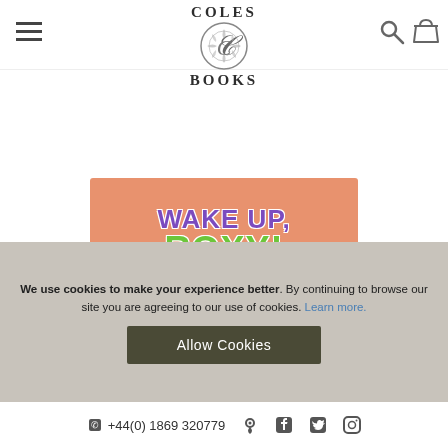[Figure (logo): Coles Books logo with decorative circular emblem featuring foliage, text reading COLES above and BOOKS below]
[Figure (illustration): Book cover for 'Wake Up, Roxy!' displayed on a salmon/orange background. Text 'WAKE UP,' in purple bubble letters and 'ROXY!' in green bubble letters.]
We use cookies to make your experience better. By continuing to browse our site you are agreeing to our use of cookies. Learn more.
Allow Cookies
+44(0) 1869 320779